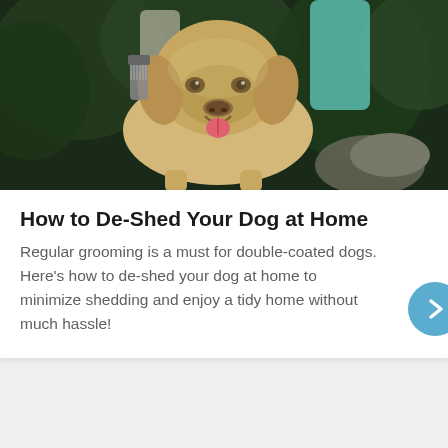[Figure (photo): A golden/yellow Labrador dog being groomed outdoors, person's hands visible holding a brush, green foliage background]
How to De-Shed Your Dog at Home
Regular grooming is a must for double-coated dogs. Here's how to de-shed your dog at home to minimize shedding and enjoy a tidy home without much hassle!
[Figure (infographic): Advertisement: Get Up To $110 Off a Set of 4 Select Firestone Tires, with live auto logo and directional arrow icon]